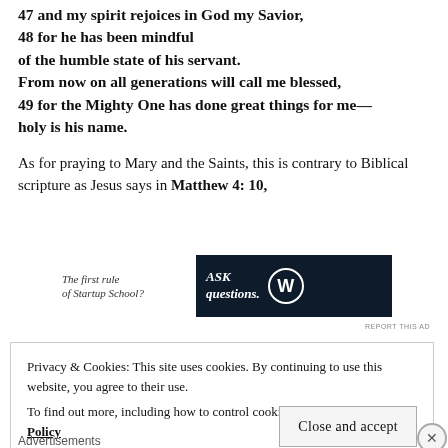47 and my spirit rejoices in God my Savior,
48 for he has been mindful
of the humble state of his servant.
From now on all generations will call me blessed,
49 for the Mighty One has done great things for me—
holy is his name.
As for praying to Mary and the Saints, this is contrary to Biblical scripture as Jesus says in Matthew 4: 10,
[Figure (screenshot): Advertisement banner. Left side shows text 'The first rule of Startup School?' in italic. Right side is dark navy background with italic text 'ASK questions.' and a WordPress-style W logo circle.]
REPORT THIS AD
Privacy & Cookies: This site uses cookies. By continuing to use this website, you agree to their use.
To find out more, including how to control cookies, see here: Cookie Policy
Close and accept
Advertisements